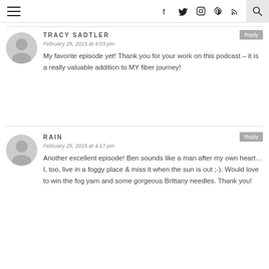Navigation bar with hamburger menu, social icons (Facebook, Twitter, Instagram, Pinterest, RSS), and search
TRACY SADTLER
February 25, 2015 at 4:03 pm
My favorite episode yet! Thank you for your work on this podcast – it is a really valuable addition to MY fiber journey!
RAIN
February 25, 2015 at 4:17 pm
Another excellent episode! Ben sounds like a man after my own heart…I, too, live in a foggy place & miss it when the sun is out ;-). Would love to win the fog yarn and some gorgeous Brittany needles. Thank you!